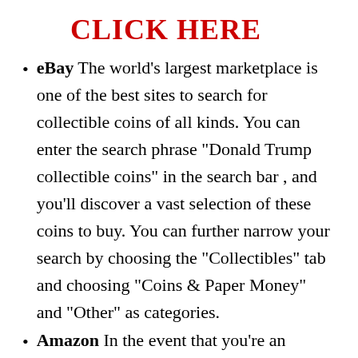CLICK HERE
eBay The world’s largest marketplace is one of the best sites to search for collectible coins of all kinds. You can enter the search phrase “Donald Trump collectible coins” in the search bar , and you’ll discover a vast selection of these coins to buy. You can further narrow your search by choosing the “Collectibles” tab and choosing “Coins & Paper Money” and “Other” as categories.
Amazon In the event that you’re an Amazon Prime member, then you’ll be able to take advantage of the added benefit of the Amazon Coins service. It